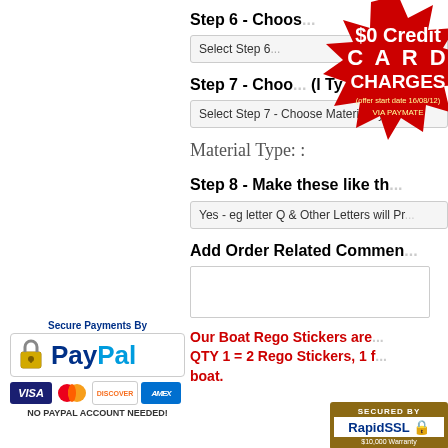Step 6 - Choos...
Select Step 6...
[Figure (infographic): Red starburst badge with text: $0 Credit CARD CHARGES VIA PAYMATE (offer start date 16/08/12)]
Step 7 - Choo... (Material Ty...
Select Step 7 - Choose Material Type
Material Type: :
Step 8 - Make these like th...
Yes - eg letter Q & Other Letters will Pr...
Add Order Related Commen...
(textarea for comments)
Our Boat Rego Stickers are... QTY 1 = 2 Rego Stickers, 1 f... boat.
[Figure (logo): Secure Payments By PayPal logo with lock icon and card logos: VISA, MasterCard, Discover, Amex. NO PAYPAL ACCOUNT NEEDED!]
[Figure (logo): SECURED BY RapidSSL lock badge with $10,000 Warranty]